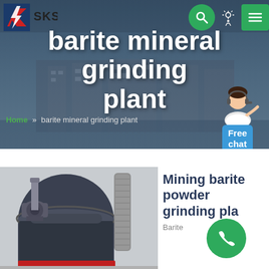[Figure (screenshot): SKS company logo with stylized red and blue S and lightning bolt mark, with text SKS]
barite mineral grinding plant
Home » barite mineral grinding plant
[Figure (illustration): Customer service representative with headset, with Free chat bubble button]
[Figure (photo): Industrial mining barite powder grinding machine - large dark gray cylindrical grinder with motor attachment]
Mining barite powder grinding plant
Barite